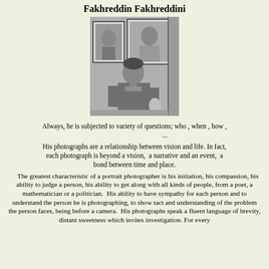Fakhreddin Fakhreddini
[Figure (photo): Black and white photograph of a man (portrait photographer) sitting in front of two framed portrait photographs on a wall, holding what appears to be a small sculpture or object.]
Always, he is subjected to variety of questions; who , when , how , ...
His photographs are a relationship between vision and life. In fact, each photograph is beyond a vision,  a narrative and an event,  a bond between time and place.
The greatest characteristic of a portrait photographer is his initiation, his compassion, his ability to judge a person, his ability to get along with all kinds of people, from a poet, a mathematician or a politician.  His ability to have sympathy for each person and to understand the person he is photographing, to show tact and understanding of the problem the person faces, being before a camera.  His photographs speak a fluent language of brevity, distant sweetness which invites investigation. For every